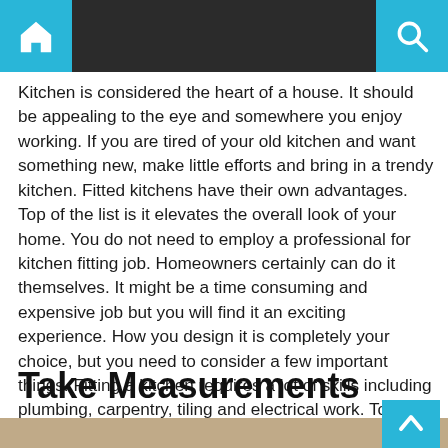Navigation bar with home and search icons
Kitchen is considered the heart of a house. It should be appealing to the eye and somewhere you enjoy working. If you are tired of your old kitchen and want something new, make little efforts and bring in a trendy kitchen. Fitted kitchens have their own advantages. Top of the list is it elevates the overall look of your home. You do not need to employ a professional for kitchen fitting job. Homeowners certainly can do it themselves. It might be a time consuming and expensive job but you will find it an exciting experience. How you design it is completely your choice, but you need to consider a few important things. Fitting a kitchen requires a lot of skills including plumbing, carpentry, tiling and electrical work. To do it perfectly, read on the following points.
Take Measurements
[Figure (photo): Partial photo of a kitchen interior showing ceiling and cabinets, with a cyan/teal scroll-to-top button overlay in the bottom right corner.]